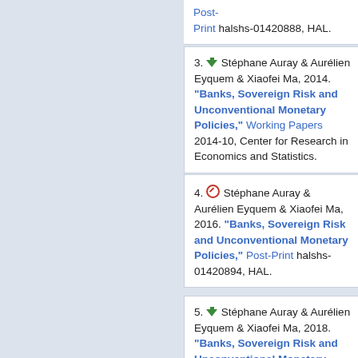Print halshs-01420888, HAL.
3. [download] Stéphane Auray & Aurélien Eyquem & Xiaofei Ma, 2014. "Banks, Sovereign Risk and Unconventional Monetary Policies," Working Papers 2014-10, Center for Research in Economics and Statistics.
4. [restricted] Stéphane Auray & Aurélien Eyquem & Xiaofei Ma, 2016. "Banks, Sovereign Risk and Unconventional Monetary Policies," Post-Print halshs-01420894, HAL.
5. [download] Stéphane Auray & Aurélien Eyquem & Xiaofei Ma, 2018. "Banks, Sovereign Risk and Unconventional Monetary Policies," Working Papers 1830, Groupe d'Analyse et de Théorie Economique Lyon St-Étienne (GATE Lyon St-Étienne), Université de Lyon.
6. [restricted] Stéphane Auray & Aurélien Eyquem & Xiaofei Ma, 2018. "Banks, sovereign risk and